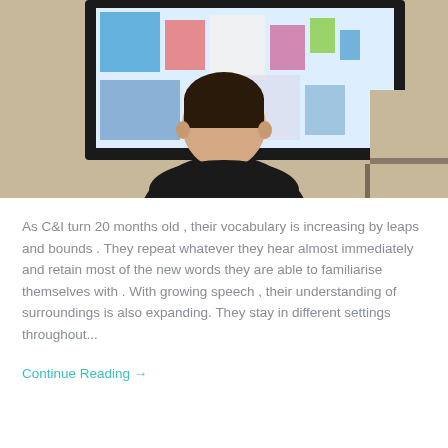[Figure (photo): Child seen from behind, sitting in front of a large flat-screen TV displaying a colorful cartoon program, in a beige room.]
As C&I turn 20 months old , their vocabulary is increasing by leaps and bounds . They repeat whatever they hear almost immediately and retain most of the new words they are able to familiarise themselves with . With growing speech , their understanding of surroundings is also expanding. They stay in different settings throughout...
Continue Reading →